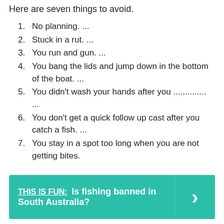Here are seven things to avoid.
1. No planning. ...
2. Stuck in a rut. ...
3. You run and gun. ...
4. You bang the lids and jump down in the bottom of the boat. ...
5. You didn't wash your hands after you .............. ...
6. You don't get a quick follow up cast after you catch a fish. ...
7. You stay in a spot too long when you are not getting bites.
THIS IS FUN: Is fishing banned in South Australia?